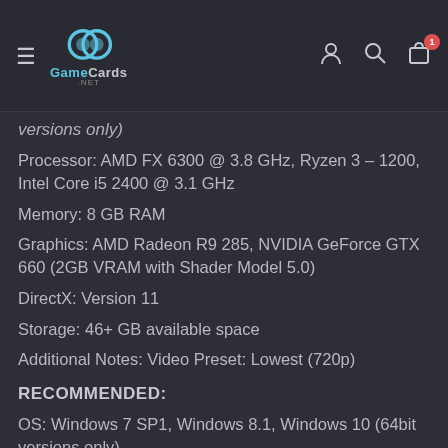GameCards.net — navigation header with hamburger menu, logo, user icon, search icon, cart icon (badge: 1)
versions only)
Processor: AMD FX 6300 @ 3.8 GHz, Ryzen 3 – 1200, Intel Core i5 2400 @ 3.1 GHz
Memory: 8 GB RAM
Graphics: AMD Radeon R9 285, NVIDIA GeForce GTX 660 (2GB VRAM with Shader Model 5.0)
DirectX: Version 11
Storage: 46+ GB available space
Additional Notes: Video Preset: Lowest (720p)
RECOMMENDED:
OS: Windows 7 SP1, Windows 8.1, Windows 10 (64bit versions only)
Processor: AMD FX-8350 @ 4.0 GHz, Ryzen 5 – 1400, Intel Core i7-3770 @ 3.5 GHz or better
Memory: 8 GB RAM